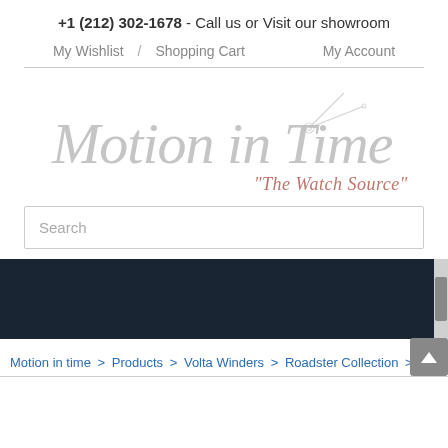+1 (212) 302-1678 - Call us or Visit our showroom
My Wishlist / Shopping Cart  My Account
[Figure (logo): Motion in Time logo with clock hands graphic and tagline 'The Watch Source']
Search
Motion in time > Products > Volta Winders > Roadster Collection > Vol